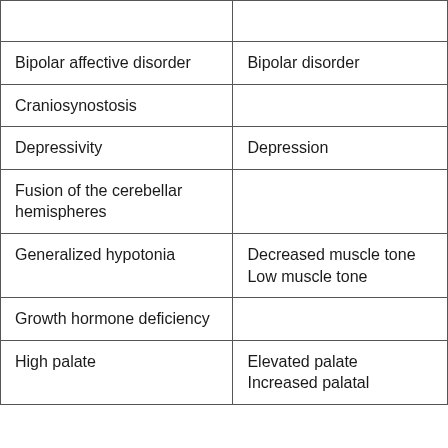| Bipolar affective disorder | Bipolar disorder |
| Craniosynostosis |  |
| Depressivity | Depression |
| Fusion of the cerebellar hemispheres |  |
| Generalized hypotonia | Decreased muscle tone
Low muscle tone |
| Growth hormone deficiency |  |
| High palate | Elevated palate
Increased palatal |